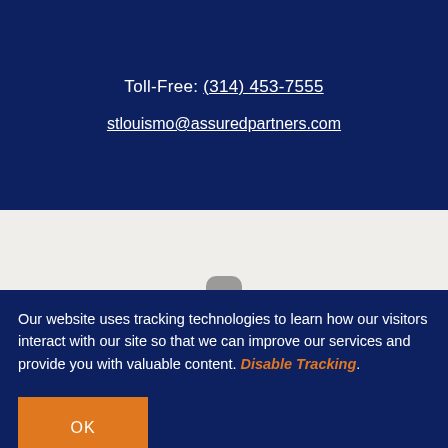Toll-Free: (314) 453-7555
stlouismo@assuredpartners.com
Our website uses tracking technologies to learn how our visitors interact with our site so that we can improve our services and provide you with valuable content. Disable Tracking.
OK